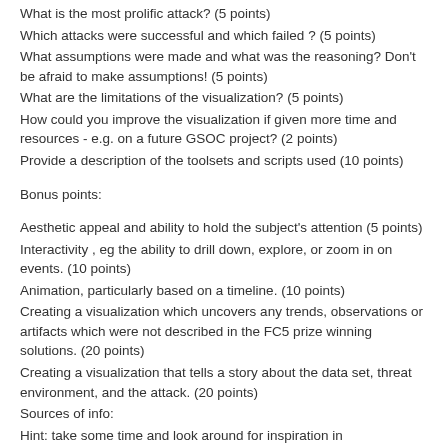What is the most prolific attack? (5 points)
Which attacks were successful and which failed ? (5 points)
What assumptions were made and what was the reasoning? Don’t be afraid to make assumptions! (5 points)
What are the limitations of the visualization? (5 points)
How could you improve the visualization if given more time and resources - e.g. on a future GSOC project? (2 points)
Provide a description of the toolsets and scripts used (10 points)
Bonus points:
Aesthetic appeal and ability to hold the subject’s attention (5 points)
Interactivity , eg the ability to drill down, explore, or zoom in on events. (10 points)
Animation, particularly based on a timeline. (10 points)
Creating a visualization which uncovers any trends, observations or artifacts which were not described in the FC5 prize winning solutions. (20 points)
Creating a visualization that tells a story about the data set, threat environment, and the attack. (20 points)
Sources of info:
Hint: take some time and look around for inspiration in